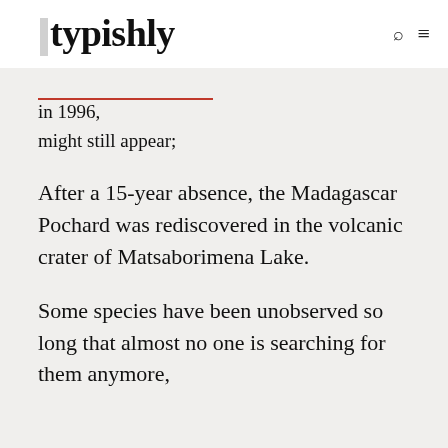typishly
in 1996,
might still appear;
After a 15-year absence, the Madagascar Pochard was rediscovered in the volcanic crater of Matsaborimena Lake.
Some species have been unobserved so long that almost no one is searching for them anymore,